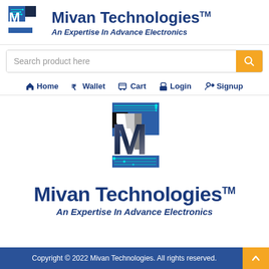[Figure (logo): Mivan Technologies logo: letter M with circuit board pattern, blue and teal colors]
Mivan Technologies™
An Expertise In Advance Electronics
Search product here
Home
Wallet
Cart
Login
Signup
[Figure (logo): Large Mivan Technologies logo: letter M with circuit board pattern, dark blue and teal gradient colors]
Mivan Technologies™
An Expertise In Advance Electronics
Copyright © 2022 Mivan Technologies. All rights reserved.